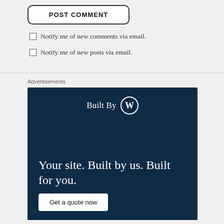POST COMMENT
Notify me of new comments via email.
Notify me of new posts via email.
Advertisements
[Figure (illustration): WordPress Built By advertisement: dark navy background with 'Built By' text and WordPress logo icon at top, large tagline 'Your site. Built by us. Built for you.' and 'Get a quote now' white button at bottom.]